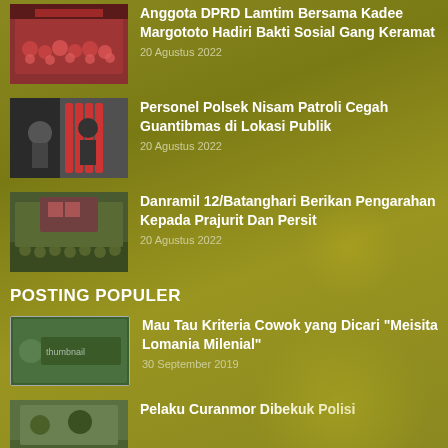[Figure (photo): Group of people wearing red shirts, social event photo]
Anggota DPRD Lamtim Bersama Kadee Margototo Hadiri Bakti Sosial Gang Keramat
20 Agustus 2022
[Figure (photo): Police officer at a gas station, patrol activity]
Personel Polsek Nisam Patroli Cegah Guantibmas di Lokasi Publik
20 Agustus 2022
[Figure (photo): Military soldiers in green uniforms standing in formation outside a building]
Danramil 12/Batanghari Berikan Pengarahan Kepada Prajurit Dan Persit
20 Agustus 2022
POSTING POPULER
[Figure (photo): Small thumbnail image for popular post]
Mau Tau Kriteria Cowok yang Dicari "Meisita Lomania Milenial"
30 September 2019
[Figure (photo): Small thumbnail image for popular post about vehicle theft]
Pelaku Curanmor Dibekuk Polisi